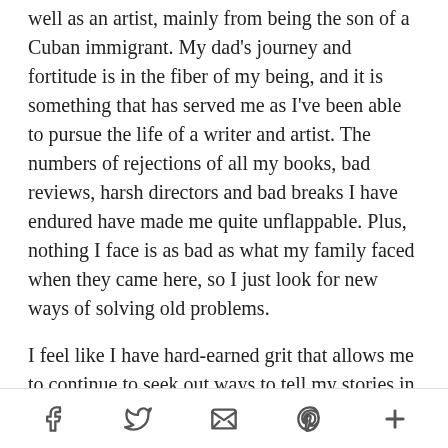well as an artist, mainly from being the son of a Cuban immigrant. My dad's journey and fortitude is in the fiber of my being, and it is something that has served me as I've been able to pursue the life of a writer and artist. The numbers of rejections of all my books, bad reviews, harsh directors and bad breaks I have endured have made me quite unflappable. Plus, nothing I face is as bad as what my family faced when they came here, so I just look for new ways of solving old problems.
I feel like I have hard-earned grit that allows me to continue to seek out ways to tell my stories in whatever medium suits the story. I've also faced some things personally that I wouldn't want anyone to face, including the brutal
Social share icons: Facebook, Twitter, Email, Pinterest, More